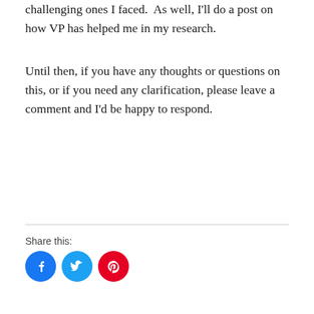challenging ones I faced.  As well, I'll do a post on how VP has helped me in my research.
Until then, if you have any thoughts or questions on this, or if you need any clarification, please leave a comment and I'd be happy to respond.
Share this:
[Figure (other): Three circular social media share buttons: Facebook (blue), Twitter (light blue), Pinterest (red)]